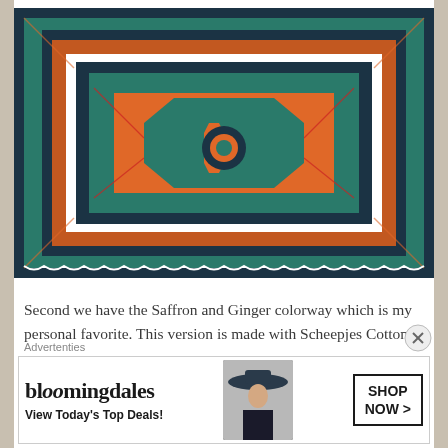[Figure (photo): Colorful crocheted blanket with Saffron and Ginger colorway featuring geometric Aztec/Moroccan style patterns in teal, orange, red, white and dark navy colors, viewed from above at an angle on a dark surface.]
Second we have the Saffron and Ginger colorway which is my personal favorite. This version is made with Scheepjes Cotton 8 which is a fingering weight yarntype and will deliver a beautiful and a bit smaller blanket. All
Advertenties
[Figure (other): Bloomingdale's advertisement banner. Shows the Bloomingdale's logo text, tagline 'View Today's Top Deals!' with a woman model wearing a wide brim hat, and a 'SHOP NOW >' button.]